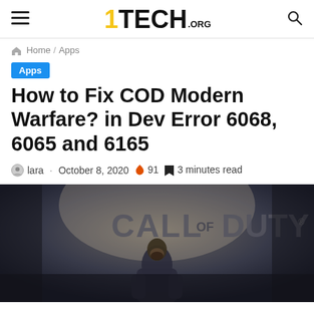1TECH.ORG
Home / Apps
Apps
How to Fix COD Modern Warfare? in Dev Error 6068, 6065 and 6165
lara · October 8, 2020 🔥 91 🔖 3 minutes read
[Figure (photo): Call of Duty Modern Warfare promotional image showing a bearded soldier with the CALL OF DUTY text in the background]